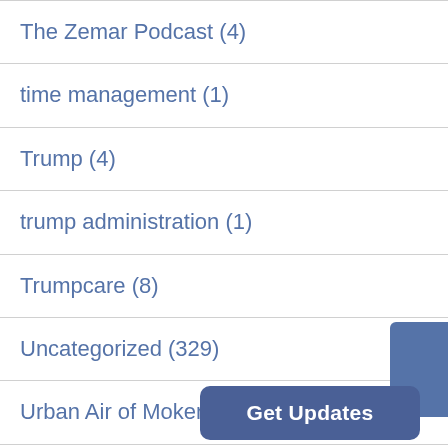The Zemar Podcast (4)
time management (1)
Trump (4)
trump administration (1)
Trumpcare (8)
Uncategorized (329)
Urban Air of Mokena (1)
US Navy (1)
Veterans (1)
video (2)